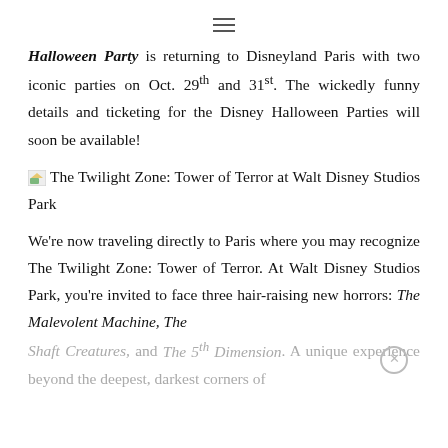≡
Halloween Party is returning to Disneyland Paris with two iconic parties on Oct. 29th and 31st. The wickedly funny details and ticketing for the Disney Halloween Parties will soon be available!
[Figure (photo): Small broken/placeholder image icon followed by alt text: The Twilight Zone: Tower of Terror at Walt Disney Studios Park]
We're now traveling directly to Paris where you may recognize The Twilight Zone: Tower of Terror. At Walt Disney Studios Park, you're invited to face three hair-raising new horrors: The Malevolent Machine, The Shaft Creatures, and The 5th Dimension. A unique experience beyond the deepest, darkest corners of